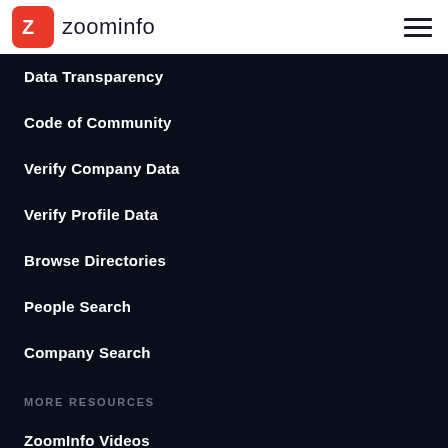[Figure (logo): ZoomInfo logo with red Z icon and wordmark on white header bar]
Data Transparency
Code of Community
Verify Company Data
Verify Profile Data
Browse Directories
People Search
Company Search
MORE RESOURCES
ZoomInfo Videos
Newsroom